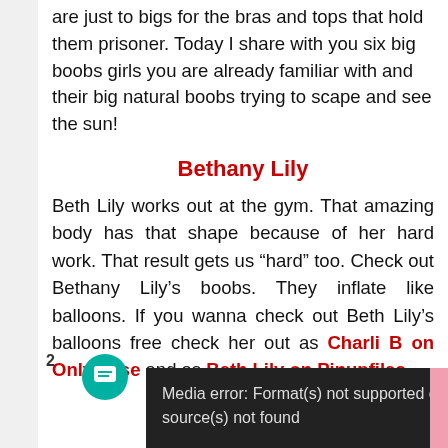are just to bigs for the bras and tops that hold them prisoner. Today I share with you six big boobs girls you are already familiar with and their big natural boobs trying to scape and see the sun!
Bethany Lily
Beth Lily works out at the gym. That amazing body has that shape because of her hard work. That result gets us “hard” too. Check out Bethany Lily’s boobs. They inflate like balloons. If you wanna check out Beth Lily’s balloons free check her out as Charli B on Onlytease and as Beth Lily on Pinupfiles.
2
Media error: Format(s) not supported or source(s) not found